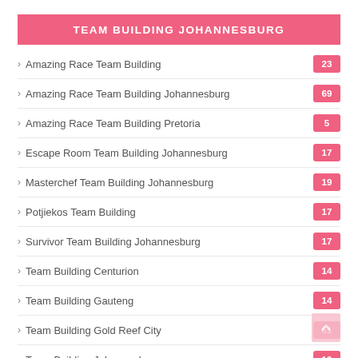TEAM BUILDING JOHANNESBURG
Amazing Race Team Building
Amazing Race Team Building Johannesburg
Amazing Race Team Building Pretoria
Escape Room Team Building Johannesburg
Masterchef Team Building Johannesburg
Potjiekos Team Building
Survivor Team Building Johannesburg
Team Building Centurion
Team Building Gauteng
Team Building Gold Reef City
Team Building Johannesburg
Team Building Montecasino